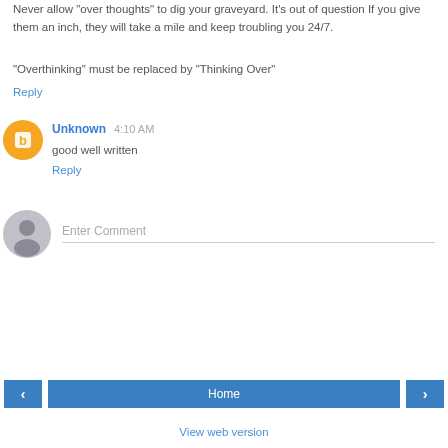Never allow "over thoughts" to dig your graveyard. It's out of question If you give them an inch, they will take a mile and keep troubling you 24/7.
"Overthinking" must be replaced by "Thinking Over"
Reply
Unknown  4:10 AM
good well written
Reply
Enter Comment
Home
View web version